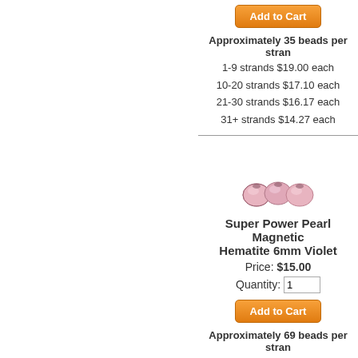[Figure (other): Add to Cart orange button (top)]
Approximately 35 beads per strand
1-9 strands $19.00 each
10-20 strands $17.10 each
21-30 strands $16.17 each
31+ strands $14.27 each
[Figure (photo): Three violet/pink pearl magnetic hematite 6mm beads]
Super Power Pearl Magnetic Hematite 6mm Violet
Price: $15.00
Quantity: 1
[Figure (other): Add to Cart orange button (second product)]
Approximately 69 beads per strand
1-9 strands $15.00 each
10-20 strands $13.50 each
21-30 strands $12.77 each